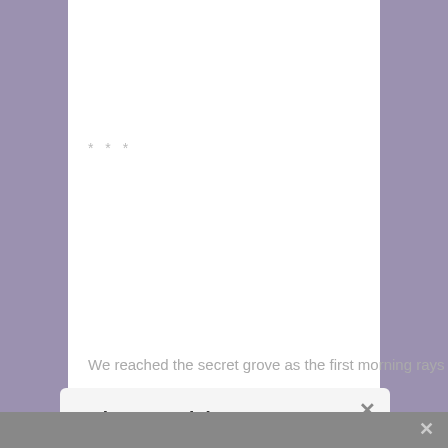* * *
We reached the secret grove as the first morning rays
Share This
Share this post with your friends!
KentsteadMedia
Print Friendly
Like